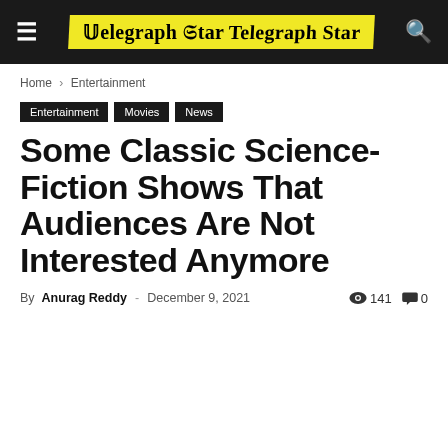Telegraph Star
Home › Entertainment
Entertainment
Movies
News
Some Classic Science-Fiction Shows That Audiences Are Not Interested Anymore
By Anurag Reddy - December 9, 2021  141  0